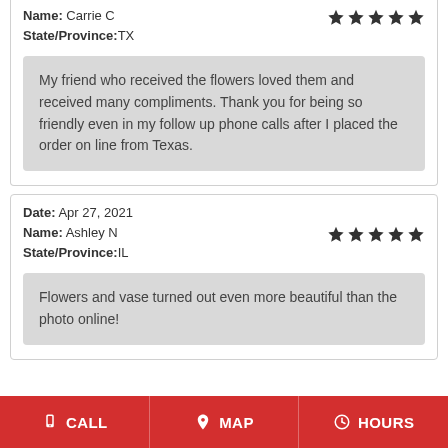Name: Carrie C
State/Province: TX
My friend who received the flowers loved them and received many compliments. Thank you for being so friendly even in my follow up phone calls after I placed the order on line from Texas.
Date: Apr 27, 2021
Name: Ashley N
State/Province: IL
Flowers and vase turned out even more beautiful than the photo online!
CALL | MAP | HOURS